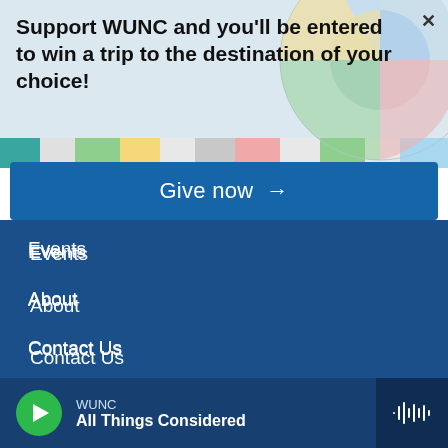[Figure (screenshot): Colorful circular/geometric decorative background illustration with pastel segments]
Support WUNC and you'll be entered to win a trip to the destination of your choice!
Give now →
Events
About
Contact Us
Employment
Privacy
FCC Applications
WUNC All Things Considered